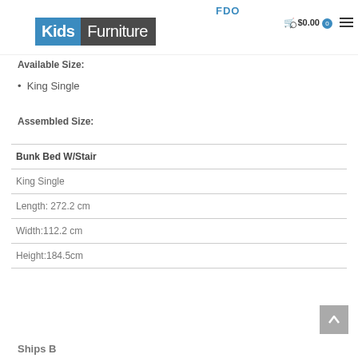[Figure (logo): Kids Furniture logo with blue 'Kids' block and dark grey 'Furniture' block, with FDO label above, search icon, cart showing $0.00 with badge 0, and hamburger menu]
Available Size:
King Single
Assembled Size:
| Bunk Bed W/Stair |  |
| --- | --- |
| King Single |  |
| Length: 272.2 cm |  |
| Width:112.2 cm |  |
| Height:184.5cm |  |